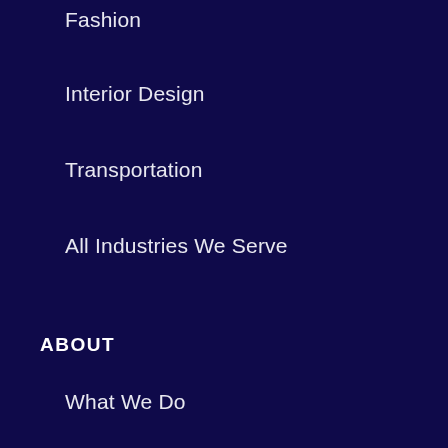Fashion
Interior Design
Transportation
All Industries We Serve
ABOUT
What We Do
How it Works
Meet the Team
Meet Our Writers
Happy Writers
Careers